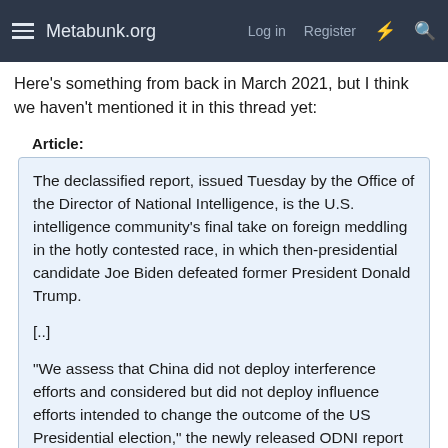Metabunk.org  Log in  Register
Here's something from back in March 2021, but I think we haven't mentioned it in this thread yet:
Article:
The declassified report, issued Tuesday by the Office of the Director of National Intelligence, is the U.S. intelligence community's final take on foreign meddling in the hotly contested race, in which then-presidential candidate Joe Biden defeated former President Donald Trump.

[..]

"We assess that China did not deploy interference efforts and considered but did not deploy influence efforts intended to change the outcome of the US Presidential election," the newly released ODNI report said, adding it had "high confidence" in its finding.

"China sought stability in its relationship with the United States, did not view either election outcome as being